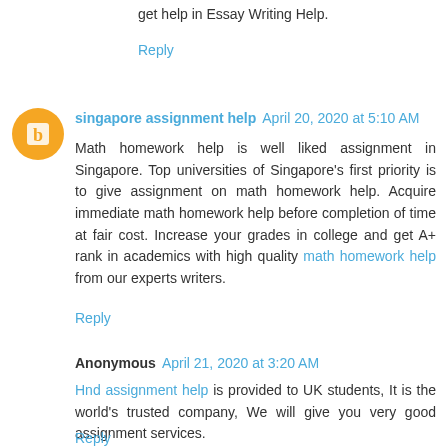get help in Essay Writing Help.
Reply
singapore assignment help  April 20, 2020 at 5:10 AM
Math homework help is well liked assignment in Singapore. Top universities of Singapore's first priority is to give assignment on math homework help. Acquire immediate math homework help before completion of time at fair cost. Increase your grades in college and get A+ rank in academics with high quality math homework help from our experts writers.
Reply
Anonymous  April 21, 2020 at 3:20 AM
Hnd assignment help is provided to UK students, It is the world's trusted company, We will give you very good assignment services.
Reply